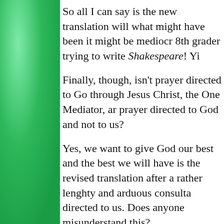So all I can say is the new translation will what might have been it might be mediocr 8th grader trying to write Shakespeare! Yi
Finally, though, isn't prayer directed to Go through Jesus Christ, the One Mediator, ar prayer directed to God and not to us?
Yes, we want to give God our best and the best we will have is the revised translation after a rather lenghty and arduous consulta directed to us. Does anyone misunderstand this?
You are a Catholic, which is high about...